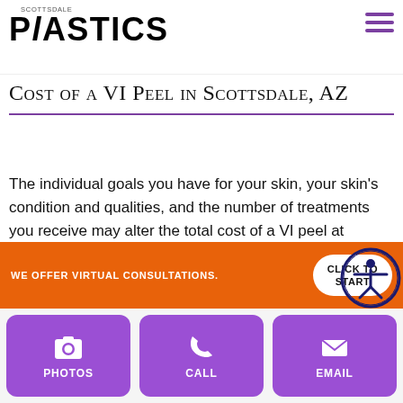Scottsdale Plastics
long? Is it part of your personalized beauty plan? Latisse is a topical medication that encourages the growth of longer, thicker eyelashes. So you can not only stun your friends and colleagues with clearer skin but also luscious lashes, too!
Cost of a VI Peel in Scottsdale, AZ
The individual goals you have for your skin, your skin's condition and qualities, and the number of treatments you receive may alter the total cost of a VI peel at Scottsdale Plastics. You can discuss the number of treatments suitable for your needs with Dr. Bonillas
WE OFFER VIRTUAL CONSULTATIONS.
CLICK TO START
[Figure (infographic): Three purple buttons at bottom: PHOTOS (camera icon), CALL (phone icon), EMAIL (envelope icon)]